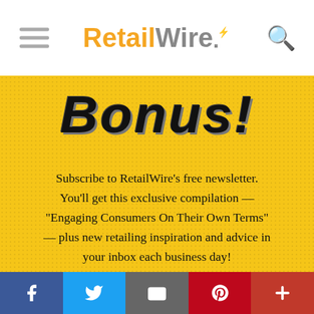RetailWire (logo with hamburger menu and search icon)
Bonus!
Subscribe to RetailWire's free newsletter. You'll get this exclusive compilation — "Engaging Consumers On Their Own Terms" — plus new retailing inspiration and advice in your inbox each business day!
EMAIL ADDRESS
SUBSCRIBE NOW ›
Social bar: Facebook, Twitter, Email, Pinterest, More